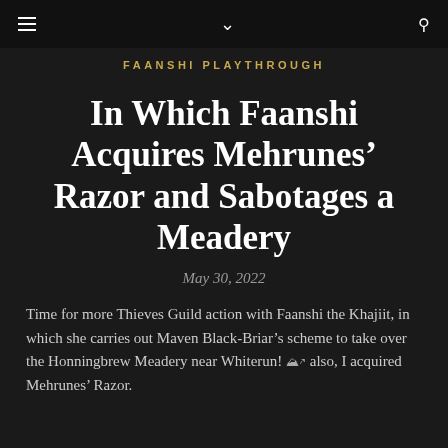FAANSHI PLAYTHROUGH
In Which Faanshi Acquires Mehrunes' Razor and Sabotages a Meadery
May 30, 2022
Time for more Thieves Guild action with Faanshi the Khajiit, in which she carries out Maven Black-Briar's scheme to take over the Honningbrew Meadery near Whiterun! And also, I acquired Mehrunes' Razor.